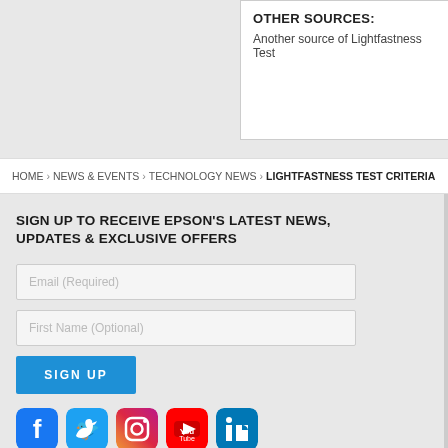OTHER SOURCES:
Another source of Lightfastness Test
HOME › NEWS & EVENTS › TECHNOLOGY NEWS › LIGHTFASTNESS TEST CRITERIA
SIGN UP TO RECEIVE EPSON'S LATEST NEWS, UPDATES & EXCLUSIVE OFFERS
Email (Required)
First Name (Optional)
SIGN UP
[Figure (infographic): Social media icons: Facebook, Twitter, Instagram, YouTube, LinkedIn]
You are providing your consent to Epson Australia Pty Ltd., so that we may send you emails with regards to interesting news, latest updates and exclusive offers. You may withdraw your consent or view our privacy policy at any time.